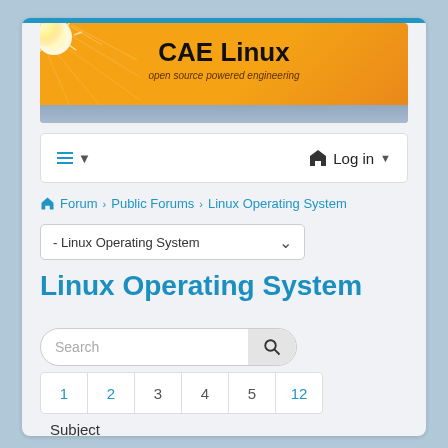[Figure (illustration): CAE Linux website banner with orange gradient background, sun rays on left, bold title 'CAE Linux' and subtitle 'open source powered engineering', blue-gray bar at bottom]
≡ ▾  Log in ▾
⌂ Forum › Public Forums › Linux Operating System
- Linux Operating System ⌄
Linux Operating System
Search
1  2  3  4  5  12
Subject